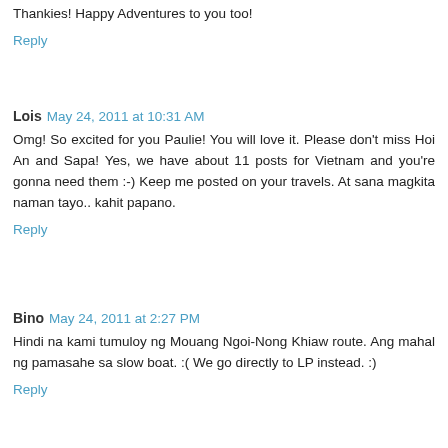Thankies! Happy Adventures to you too!
Reply
Lois  May 24, 2011 at 10:31 AM
Omg! So excited for you Paulie! You will love it. Please don't miss Hoi An and Sapa! Yes, we have about 11 posts for Vietnam and you're gonna need them :-) Keep me posted on your travels. At sana magkita naman tayo.. kahit papano.
Reply
Bino  May 24, 2011 at 2:27 PM
Hindi na kami tumuloy ng Mouang Ngoi-Nong Khiaw route. Ang mahal ng pamasahe sa slow boat. :( We go directly to LP instead. :)
Reply